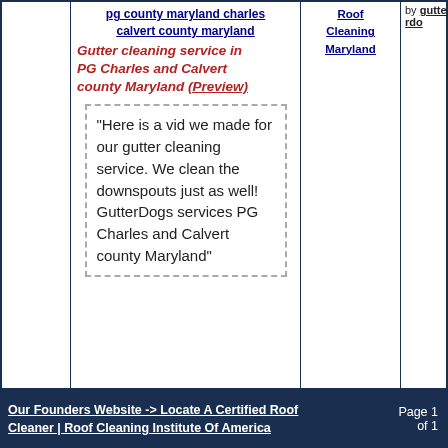pg county maryland charles calvert county maryland
Gutter cleaning service in PG Charles and Calvert county Maryland (Preview)
“Here is a vid we made for our gutter cleaning service. We clean the downspouts just as well! GutterDogs services PG Charles and Calvert county Maryland”
Roof Cleaning Maryland
by gutterdogs
Our Founders Website -> Locate A Certified Roof Cleaner | Roof Cleaning Institute Of America   Page 1 of 1